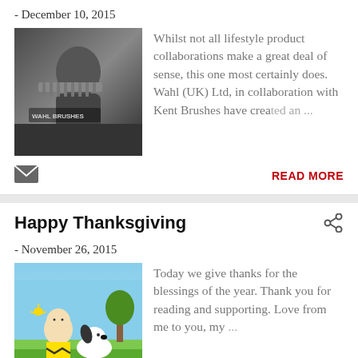- December 10, 2015
[Figure (photo): Black and white photo of a person holding a comb/brush, with Wahl branding visible]
Whilst not all lifestyle product collaborations make a great deal of sense, this one most certainly does. Wahl (UK) Ltd, in collaboration with Kent Brushes have created an ...
READ MORE
Happy Thanksgiving
- November 26, 2015
[Figure (illustration): Charlie Brown and Snoopy Peanuts characters in a Thanksgiving scene with autumn setting]
Today we give thanks for the blessings of the year. Thank you for reading and supporting. Love from me to you, my ...